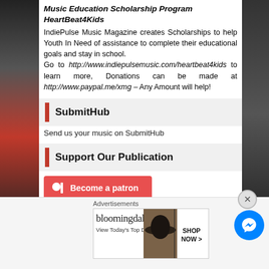Music Education Scholarship Program HeartBeat4Kids
IndiePulse Music Magazine creates Scholarships to help Youth In Need of assistance to complete their educational goals and stay in school. Go to http://www.indiepulsemusic.com/heartbeat4kids to learn more, Donations can be made at http://www.paypal.me/xmg – Any Amount will help!
SubmitHub
Send us your music on SubmitHub
Support Our Publication
Become a patron
Advertisements
[Figure (screenshot): Bloomingdale's advertisement banner with 'View Today's Top Deals!' text and 'SHOP NOW >' button]